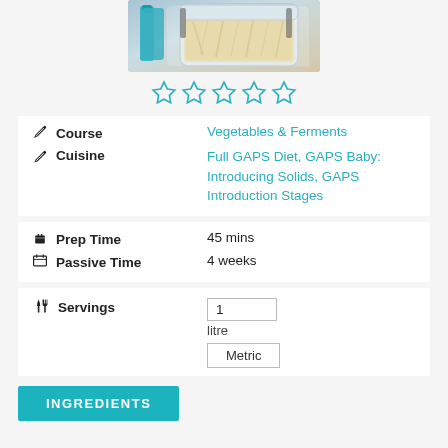[Figure (photo): A glass jar filled with fermented vegetables (sauerkraut/kimchi) on a blue background, with a blue-handled utensil beside it]
[Figure (other): Five empty star rating icons in teal/cyan color]
Course
Vegetables & Ferments
Cuisine
Full GAPS Diet, GAPS Baby: Introducing Solids, GAPS Introduction Stages
Prep Time
45 mins
Passive Time
4 weeks
Servings
1
litre
Metric
INGREDIENTS